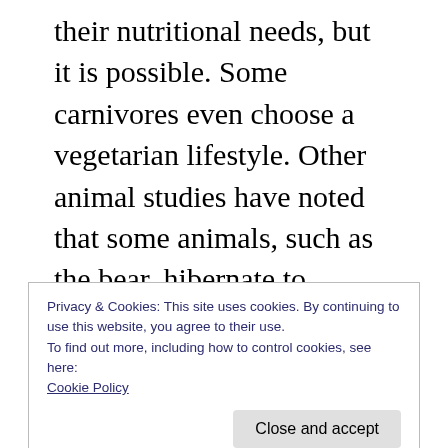their nutritional needs, but it is possible. Some carnivores even choose a vegetarian lifestyle. Other animal studies have noted that some animals, such as the bear, hibernate to survive times of undue stress. Many other animals (and perhaps nearly all) are able to enter into a period of relative dormancy or estivation when faced with a danger they cannot overcome and from which they cannot flee. In such a state they require minimal food and exercise, and
Privacy & Cookies: This site uses cookies. By continuing to use this website, you agree to their use.
To find out more, including how to control cookies, see here: Cookie Policy
Scripture actually hints at such a situation.